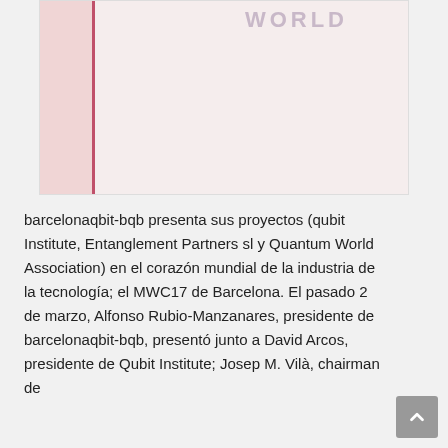[Figure (illustration): A partially visible image with a pink/rose color block on the left side, a vertical magenta line, and faded 'WORLD' text in the upper right area on a light pink background.]
barcelonaqbit-bqb presenta sus proyectos (qubit Institute, Entanglement Partners sl y Quantum World Association) en el corazón mundial de la industria de la tecnología; el MWC17 de Barcelona. El pasado 2 de marzo, Alfonso Rubio-Manzanares, presidente de barcelonaqbit-bqb, presentó junto a David Arcos, presidente de Qubit Institute; Josep M. Vilà, chairman de